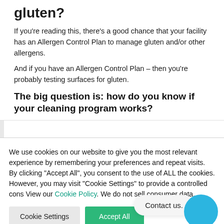gluten?
If you're reading this, there's a good chance that your facility has an Allergen Control Plan to manage gluten and/or other allergens.
And if you have an Allergen Control Plan – then you're probably testing surfaces for gluten.
The big question is: how do you know if your cleaning program works?
We use cookies on our website to give you the most relevant experience by remembering your preferences and repeat visits. By clicking "Accept All", you consent to the use of ALL the cookies. However, you may visit "Cookie Settings" to provide a controlled cons View our Cookie Policy. We do not sell consumer data.
Contact us.
Cookie Settings
Accept All